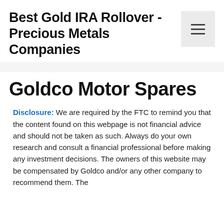Best Gold IRA Rollover - Precious Metals Companies
Goldco Motor Spares
Disclosure: We are required by the FTC to remind you that the content found on this webpage is not financial advice and should not be taken as such. Always do your own research and consult a financial professional before making any investment decisions. The owners of this website may be compensated by Goldco and/or any other company to recommend them. The